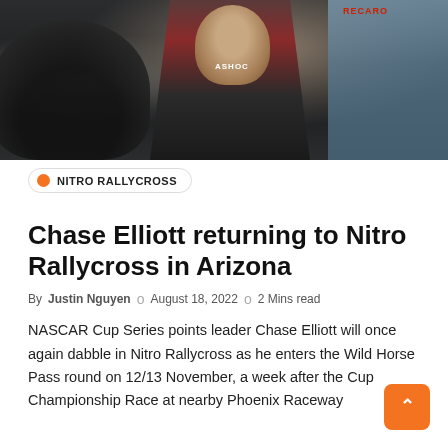[Figure (photo): A racing driver in a red and black racing suit with ASHOC branding, sitting inside a race car cockpit. A RECARO logo is visible in the top right. Another person in blue is partially visible on the right side.]
NITRO RALLYCROSS
Chase Elliott returning to Nitro Rallycross in Arizona
By Justin Nguyen  o  August 18, 2022  o  2 Mins read
NASCAR Cup Series points leader Chase Elliott will once again dabble in Nitro Rallycross as he enters the Wild Horse Pass round on 12/13 November, a week after the Cup Championship Race at nearby Phoenix Raceway